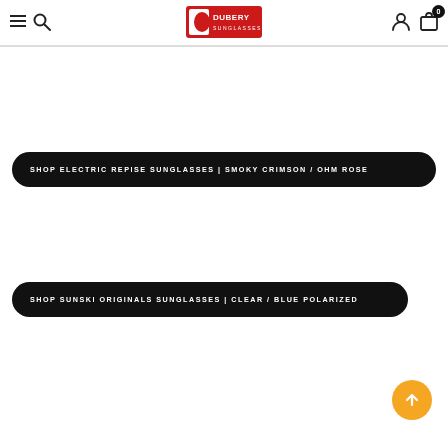Dubery Sunglasses navigation header with hamburger menu, search, logo, account, and cart icons
SHOP ELECTRIC REPISE SUNGLASSES | SMOKY CRIMSON / OHM ROSE
SHOP SUNSKI ORIGINALS SUNGLASSES | CLEAR / BLUE POLARIZED
[Figure (other): Back to top arrow button, orange circle with upward arrow]